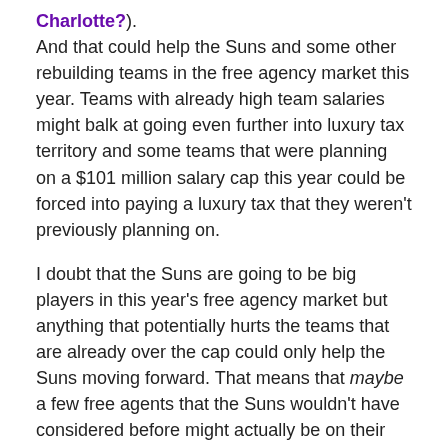Charlotte?). And that could help the Suns and some other rebuilding teams in the free agency market this year. Teams with already high team salaries might balk at going even further into luxury tax territory and some teams that were planning on a $101 million salary cap this year could be forced into paying a luxury tax that they weren't previously planning on.
I doubt that the Suns are going to be big players in this year's free agency market but anything that potentially hurts the teams that are already over the cap could only help the Suns moving forward. That means that maybe a few free agents that the Suns wouldn't have considered before might actually be on their radar depending on how the salary cap numbers turn out.